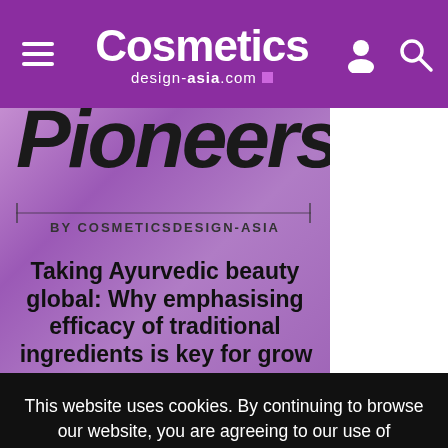Cosmetics design-asia.com
[Figure (screenshot): Partial view of a magazine-style article cover image with purple textured background showing text 'Pioneers BY COSMETICSDESIGN-ASIA' and article title 'Taking Ayurvedic beauty global: Why emphasising efficacy of traditional ingredients is key for growth']
This website uses cookies. By continuing to browse our website, you are agreeing to our use of cookies. You can learn more about cookies by visiting our privacy & cookies policy page.